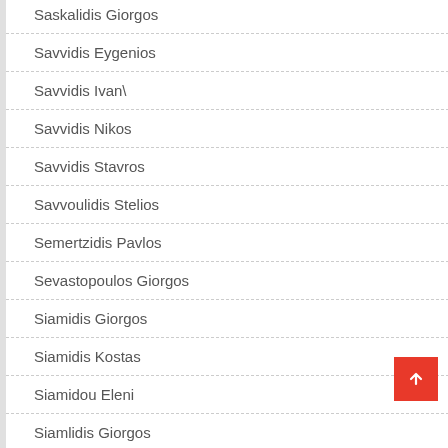Saskalidis Giorgos
Savvidis Eygenios
Savvidis Ivan\
Savvidis Nikos
Savvidis Stavros
Savvoulidis Stelios
Semertzidis Pavlos
Sevastopoulos Giorgos
Siamidis Giorgos
Siamidis Kostas
Siamidou Eleni
Siamlidis Giorgos
Sideras Grigoris